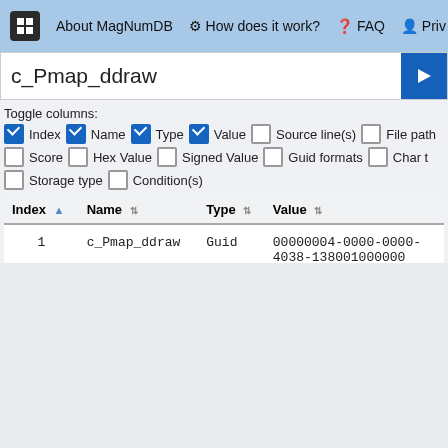About MagNumDB  How does it work?  FAQ  Priv
c_Pmap_ddraw
Toggle columns:
Index (checked), Name (checked), Type (checked), Value (checked), Source line(s) (unchecked), File path (unchecked)
Score (unchecked), Hex Value (unchecked), Signed Value (unchecked), Guid formats (unchecked), Char t (unchecked)
Storage type (unchecked), Condition(s) (unchecked)
| Index | Name | Type | Value |
| --- | --- | --- | --- |
| 1 | c_Pmap_ddraw | Guid | 00000004-0000-0000-4038-138001000000 |